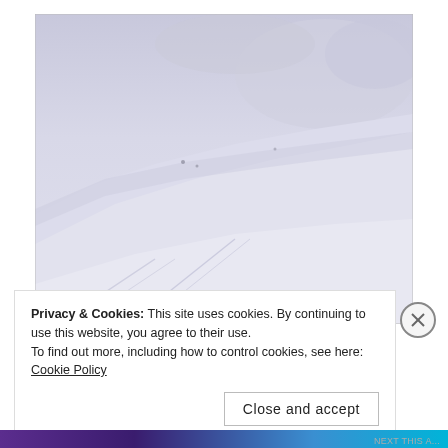[Figure (photo): Snow-covered mountain slopes with gentle hills and ski tracks visible in the snow. The sky is overcast and hazy. The scene is predominantly white and light lavender-blue tones.]
Privacy & Cookies: This site uses cookies. By continuing to use this website, you agree to their use.
To find out more, including how to control cookies, see here: Cookie Policy
Close and accept